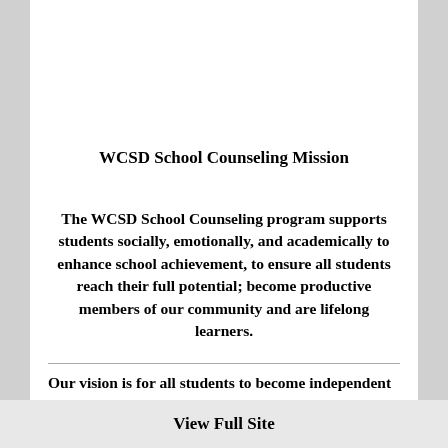WCSD School Counseling Mission
The WCSD School Counseling program supports students socially, emotionally, and academically to enhance school achievement, to ensure all students reach their full potential; become productive members of our community and are lifelong learners.
Our vision is for all students to become independent thinkers and to be responsible, productive, and respectful members of the
View Full Site